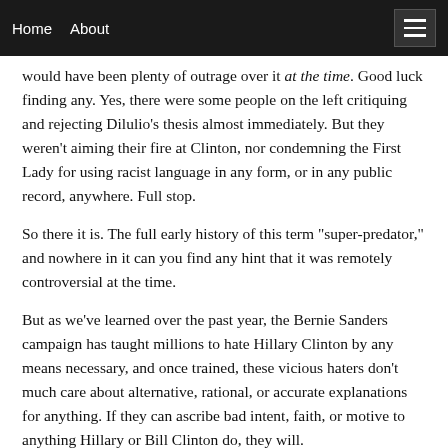Home   About
would have been plenty of outrage over it at the time.  Good luck finding any. Yes, there were some people on the left critiquing and rejecting Dilulio's thesis almost immediately. But they weren't aiming their fire at Clinton, nor condemning the First Lady for using racist language in any form, or in any public record, anywhere. Full stop.
So there it is. The full early history of this term "super-predator," and nowhere in it can you find any hint that it was remotely controversial at the time.
But as we've learned over the past year, the Bernie Sanders campaign has taught millions to hate Hillary Clinton by any means necessary, and once trained, these vicious haters don't much care about alternative, rational, or accurate explanations for anything. If they can ascribe bad intent, faith, or motive to anything Hillary or Bill Clinton do, they will.
Senator Sanders's staff knew of the original incident and the easy accusation of racism that was out there to be repeated,